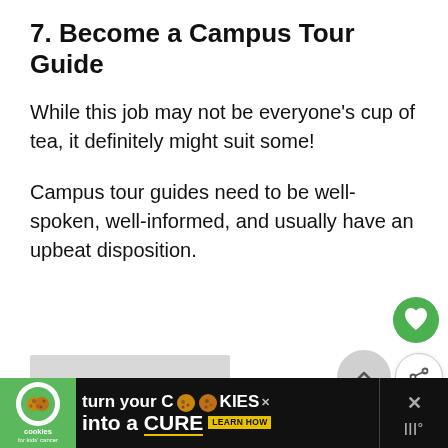7. Become a Campus Tour Guide
While this job may not be everyone's cup of tea, it definitely might suit some!
Campus tour guides need to be well-spoken, well-informed, and usually have an upbeat disposition.
[Figure (screenshot): UI overlay with heart/like button (green), back-to-top button, share button, and a 'What's Next' card showing 'How to Save Money in...' with a thumbnail image]
[Figure (infographic): Advertisement banner: Cookies for Kids' Cancer - 'turn your COOKIES into a CURE LEARN HOW' with green and black background]